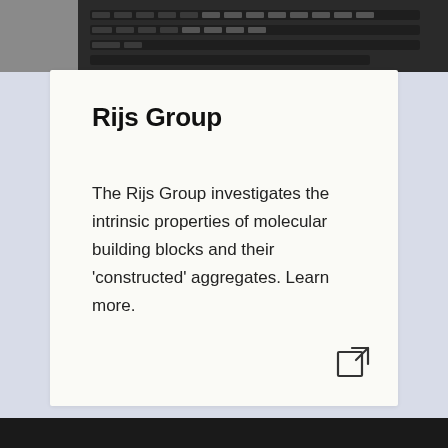[Figure (photo): Partial view of a laptop keyboard, dark-toned photograph cropped at the top of the page]
Rijs Group
The Rijs Group investigates the intrinsic properties of molecular building blocks and their 'constructed' aggregates. Learn more.